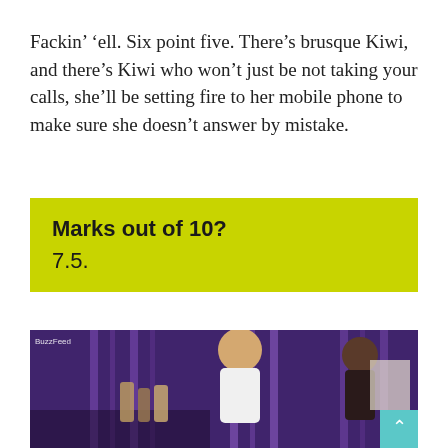Fackin' 'ell. Six point five. There's brusque Kiwi, and there's Kiwi who won't just be not taking your calls, she'll be setting fire to her mobile phone to make sure she doesn't answer by mistake.
Marks out of 10?
7.5.
[Figure (photo): A woman in a white outfit at what appears to be a television show set with purple lighting and shelving in the background. A BuzzFeed watermark is visible in the top left corner. A teal scroll-to-top button is in the bottom right corner.]